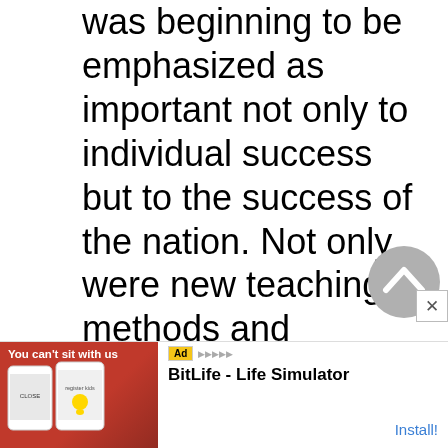was beginning to be emphasized as important not only to individual success but to the success of the nation. Not only were new teaching methods and standards being put into place, but the federal government began taking a greater role in funding and setting policy for education. College enrollment soared, as young people saw higher education as providing a chance to get ahead in life. Nevertheless, there were many pro...m.
[Figure (screenshot): Scroll-to-top circular button (grey circle with upward chevron arrow)]
[Figure (screenshot): Advertisement banner: BitLife - Life Simulator app ad with red background image showing app UI screenshots and Install! button]